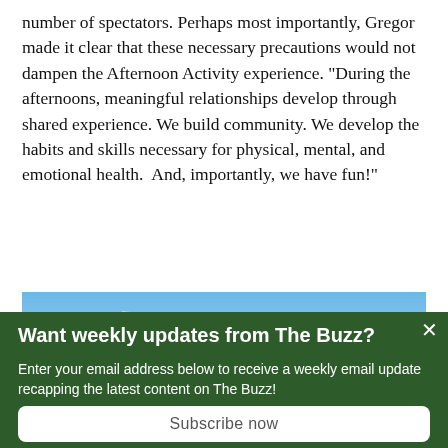number of spectators. Perhaps most importantly, Gregor made it clear that these necessary precautions would not dampen the Afternoon Activity experience. “During the afternoons, meaningful relationships develop through shared experience. We build community. We develop the habits and skills necessary for physical, mental, and emotional health.  And, importantly, we have fun!”
[Figure (photo): Outdoor photo of students running across a green field wearing masks, with trees and a mountain in the background under a blue sky.]
Want weekly updates from The Buzz?
Enter your email address below to receive a weekly email update recapping the latest content on The Buzz!
Subscribe now